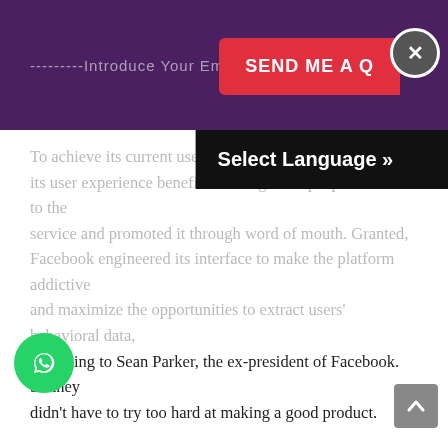---------Introduce Your Email Here! --
To achieve its current user base. Fa its user experience beneficial enough that people flocked to the service and promoted it through word of mouth. Granted, Facebook engineered its interface to make the platform addictive and maximize the opportunities to extract users' behavioral data, according to Sean Parker, the ex-president of Facebook. So they didn't have to try too hard at making a good product.
Likewise, after Google fine-tuned its user experience and gained popularity, it purposefully became an industry monopoly by devouring or otherwise eliminating the competition, according to emails unearthed in Congress's antitrust investigation.
rgress. As marketers, we're stuck with these ethically shady companies until they're usurped... if that's even possible